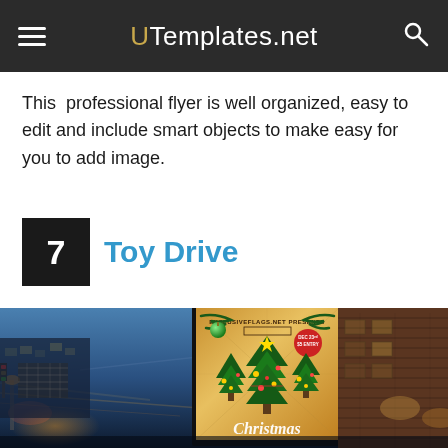UTemplates.net
This professional flyer is well organized, easy to edit and include smart objects to make easy for you to add image.
7  Toy Drive
[Figure (photo): A framed Christmas flyer displayed on an outdoor billboard at night in a city setting. The flyer shows decorated Christmas trees with 'DEC 23rd $5 ENTRY' on a red circular badge, set against a golden/warm background. The city street with night lights and a brick building are visible in the background.]